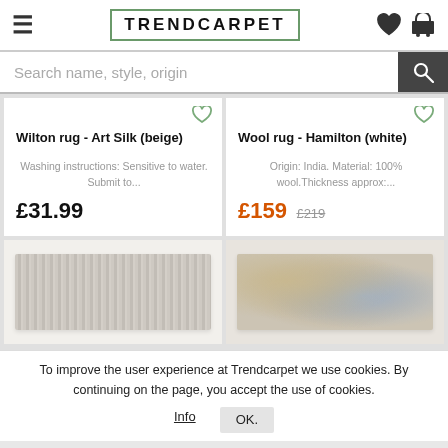TRENDCARPET
Search name, style, origin
Wilton rug - Art Silk (beige)
Washing instructions: Sensitive to water. Submit to...
£31.99
Wool rug - Hamilton (white)
Origin: India. Material: 100% wool.Thickness approx:...
£159  £219
[Figure (photo): Beige textured rug product image]
[Figure (photo): Patterned grey/gold rug product image]
To improve the user experience at Trendcarpet we use cookies. By continuing on the page, you accept the use of cookies.
Info  OK.